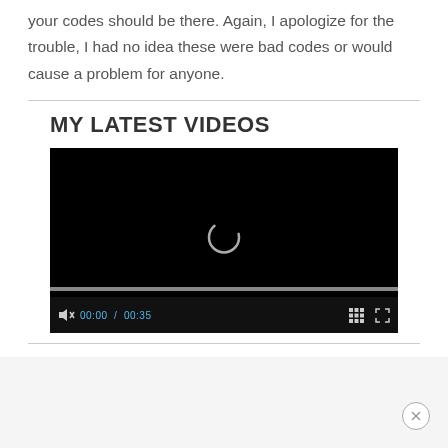your codes should be there. Again, I apologize for the trouble, I had no idea these were bad codes or would cause a problem for anyone.
MY LATEST VIDEOS
[Figure (screenshot): A video player with a black background showing a loading spinner icon in the center, a progress bar near the bottom, and video controls including a muted speaker icon, time display '00:00 / 00:35', a grid icon, and a fullscreen icon.]